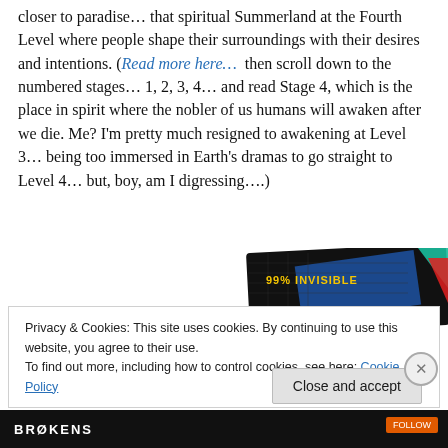closer to paradise… that spiritual Summerland at the Fourth Level where people shape their surroundings with their desires and intentions. (Read more here…  then scroll down to the numbered stages… 1, 2, 3, 4… and read Stage 4, which is the place in spirit where the nobler of us humans will awaken after we die. Me? I'm pretty much resigned to awakening at Level 3… being too immersed in Earth's dramas to go straight to Level 4… but, boy, am I digressing….)
[Figure (photo): Partial view of a book or card with text '99% INVISIBLE' on a dark background with colored design elements (teal, red, blue).]
Privacy & Cookies: This site uses cookies. By continuing to use this website, you agree to their use.
To find out more, including how to control cookies, see here: Cookie Policy
Close and accept